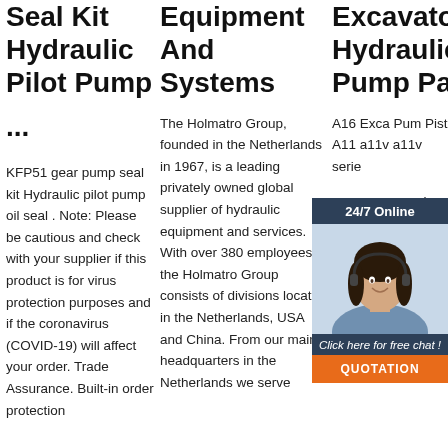Seal Kit Hydraulic Pilot Pump ...
KFP51 gear pump seal kit Hydraulic pilot pump oil seal . Note: Please be cautious and check with your supplier if this product is for virus protection purposes and if the coronavirus (COVID-19) will affect your order. Trade Assurance. Built-in order protection
Equipment And Systems
The Holmatro Group, founded in the Netherlands in 1967, is a leading privately owned global supplier of hydraulic equipment and services. With over 380 employees the Holmatro Group consists of divisions located in the Netherlands, USA and China. From our main headquarters in the Netherlands we serve
Excavator Hydraulic Pump Pa...
[Figure (photo): Chat widget with a woman wearing a headset, 24/7 Online header, Click here for free chat CTA, and QUOTATION button]
A16 Excavator Pump Piston A11 a11v a11v series pump accessories, only need you to provide the pump above the iron plate, picture and piston size